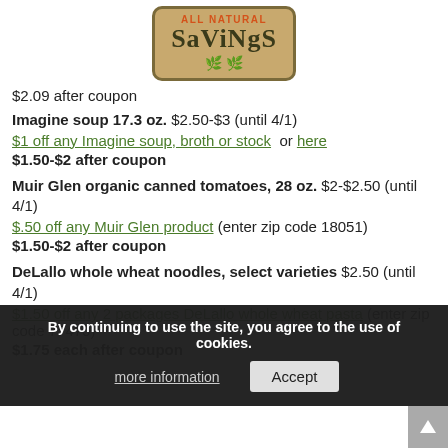[Figure (logo): All Natural Savings logo - tan/brown rounded rectangle with orange 'ALL NATURAL' text above large dark 'SaViNgS' text with green leaf icons]
$2.09 after coupon
Imagine soup 17.3 oz. $2.50-$3 (until 4/1)
$1 off any Imagine soup, broth or stock  or here
$1.50-$2 after coupon
Muir Glen organic canned tomatoes, 28 oz. $2-$2.50 (until 4/1)
$.50 off any Muir Glen product (enter zip code 18051)
$1.50-$2 after coupon
DeLallo whole wheat noodles, select varieties $2.50 (until 4/1)
$1.50 off any 2 packages DeLallo whole wheat pasta (enter zip code 77470)
$1.75 each after coupon